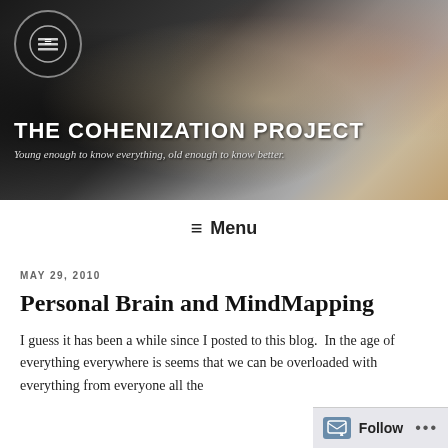[Figure (photo): Blog header photo showing a laptop on a wooden deck with autumn trees visible in the background. A circular logo with lines/bars is overlaid top-left.]
THE COHENIZATION PROJECT
Young enough to know everything, old enough to know better.
☰ Menu
MAY 29, 2010
Personal Brain and MindMapping
I guess it has been a while since I posted to this blog.  In the age of everything everywhere is seems that we can be overloaded with everything from everyone all the
Follow ...